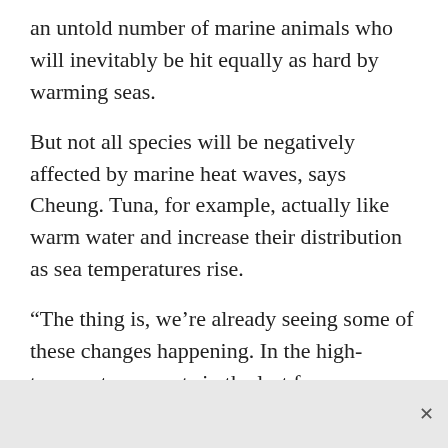an untold number of marine animals who will inevitably be hit equally as hard by warming seas.
But not all species will be negatively affected by marine heat waves, says Cheung. Tuna, for example, actually like warm water and increase their distribution as sea temperatures rise.
“The thing is, we’re already seeing some of these changes happening. In the high-temperature events in the last few years — what we call the ‘warm blob’ — we’re seeing some of these tuna species in the Northeast Pacific, including B.C.,” says Cheung.
When added together, the slow warming of the world’s oceans and temperature spikes during marine heat